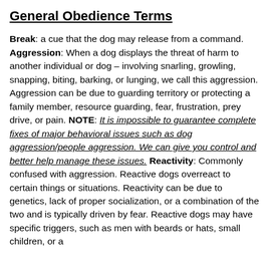General Obedience Terms
Break: a cue that the dog may release from a command. Aggression: When a dog displays the threat of harm to another individual or dog – involving snarling, growling, snapping, biting, barking, or lunging, we call this aggression. Aggression can be due to guarding territory or protecting a family member, resource guarding, fear, frustration, prey drive, or pain. NOTE: It is impossible to guarantee complete fixes of major behavioral issues such as dog aggression/people aggression. We can give you control and better help manage these issues. Reactivity: Commonly confused with aggression. Reactive dogs overreact to certain things or situations. Reactivity can be due to genetics, lack of proper socialization, or a combination of the two and is typically driven by fear. Reactive dogs may have specific triggers, such as men with beards or hats, small children, or a